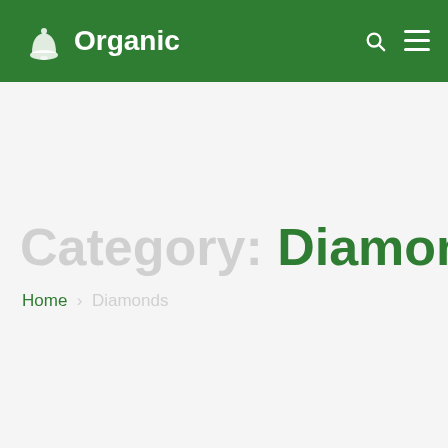Organic
Category: Diamonds
Home